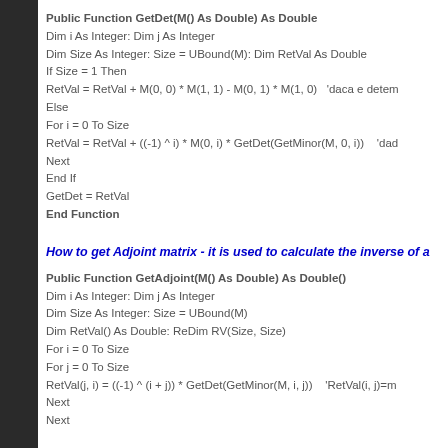Public Function GetDet(M() As Double) As Double
Dim i As Integer: Dim j As Integer
Dim Size As Integer: Size = UBound(M): Dim RetVal As Double
If Size = 1 Then
RetVal = RetVal + M(0, 0) * M(1, 1) - M(0, 1) * M(1, 0)   'daca e dete...
Else
For i = 0 To Size
RetVal = RetVal + ((-1) ^ i) * M(0, i) * GetDet(GetMinor(M, 0, i))   'da...
Next
End If
GetDet = RetVal
End Function
How to get Adjoint matrix - it is used to calculate the inverse of a...
Public Function GetAdjoint(M() As Double) As Double()
Dim i As Integer: Dim j As Integer
Dim Size As Integer: Size = UBound(M)
Dim RetVal() As Double: ReDim RV(Size, Size)
For i = 0 To Size
For j = 0 To Size
RetVal(j, i) = ((-1) ^ (i + j)) * GetDet(GetMinor(M, i, j))   'RetVal(i, j)=m...
Next
Next